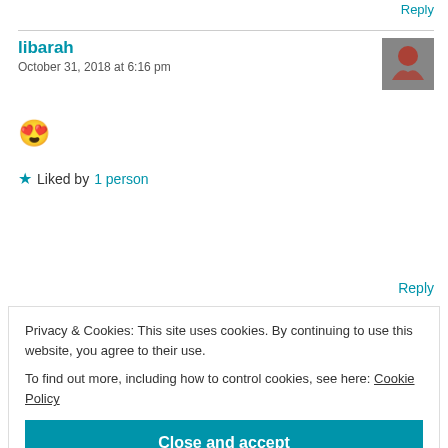Reply
libarah
October 31, 2018 at 6:16 pm
😍
★ Liked by 1 person
Reply
Privacy & Cookies: This site uses cookies. By continuing to use this website, you agree to their use.
To find out more, including how to control cookies, see here: Cookie Policy
Close and accept